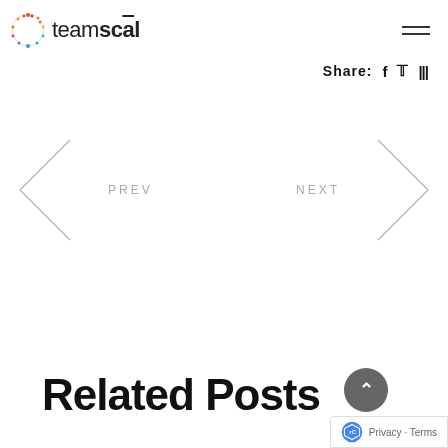[Figure (logo): teamscal logo with colorful circular icon and text 'teamscal' with a macron over the 'a']
Share: f  ▶  |||
< PREV
NEXT >
Related Posts